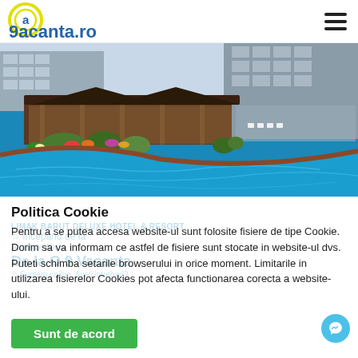v9acanta.ro
[Figure (photo): Hotel resort with swimming pool and garden, buildings in background, Limak Barut Deluxe Hotel & Resort, Antalya, Alicia area]
Politica Cookie
Pentru a se putea accesa website-ul sunt folosite fisiere de tipe Cookie. Dorim sa va informam ce astfel de fisiere sunt stocate in website-ul dvs. Puteti schimba setarile browserului in orice moment. Limitarile in utilizarea fisierelor Cookies pot afecta functionarea corecta a website-ului.
Sunt de acord